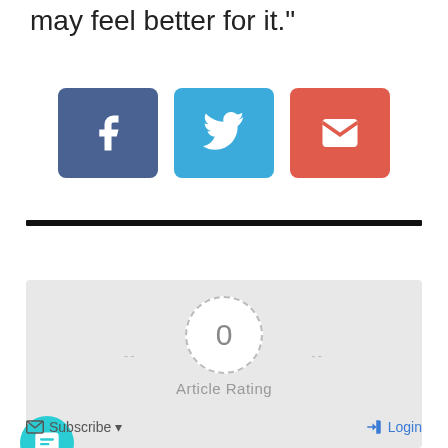may feel better for it.”
[Figure (infographic): Three social sharing buttons: Facebook (blue-purple), Twitter (light blue), and Email (red), each with white icon on rounded square background.]
[Figure (infographic): Article rating widget on gray background showing 0 rating in a dashed circle, dashes on either side, and 'Article Rating' label below. A chat button (teal circle with message icon) is in the bottom left.]
Subscribe ▾
Login